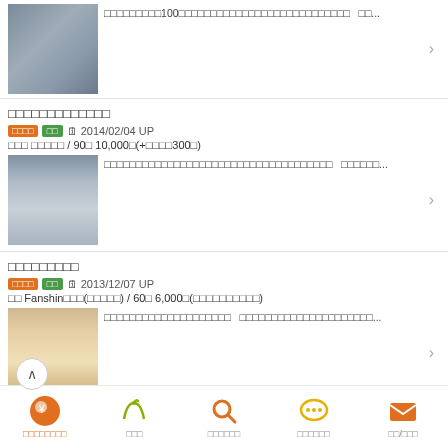[Figure (photo): Street photo with building signs]
□□□□□□□□□100□□□□□□□□□□□□□□□□□□□□□□□□   □□...
□□□□□□□□□□□□□
□□□□ □□ 2014/02/04 UP
□□□ □□□□□ / 90□ 10,000□(+□□□□300□)
[Figure (photo): Street photo with railway overhead]
□□□□□□□□□□□□□□□□□□□□□□□□□□□□□□□□□□□□   □□□□□□...
□□□□□□□□□
□□□□ □□ 2013/12/07 UP
□□ Fanshin□□□(□□□□□) / 60□ 6,000□(□□□□□□□□□□)
[Figure (photo): Street photo with Japanese sign]
□□□□□□□□□□□□□□□□□□□□   □□□□□□□□□□□□□□□□□□□□□...
□□□□□□□□   □□□   □□□□□□   □□□□□□   □□/□□□